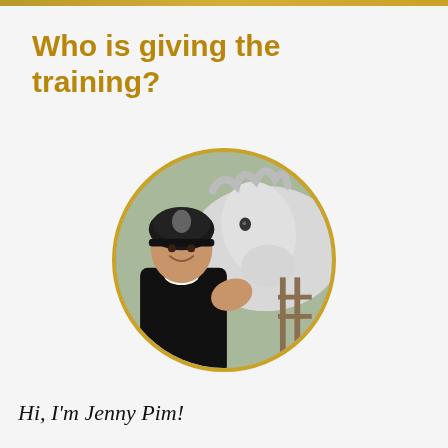Who is giving the training?
[Figure (photo): Circular portrait photo of Jenny Pim wearing a black riding helmet and black jacket with white collar, cheek-to-cheek with a white horse. Gold circular border around the photo.]
Hi, I'm Jenny Pim!